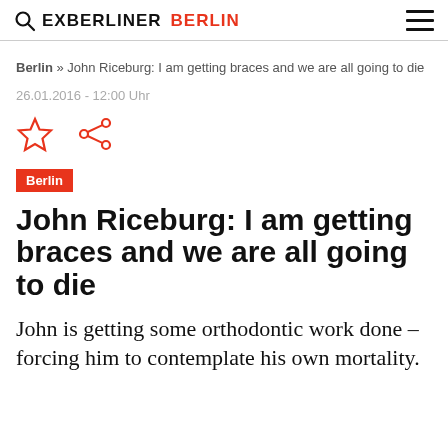EXBERLINER BERLIN
Berlin » John Riceburg: I am getting braces and we are all going to die
26.01.2016 - 12:00 Uhr
[Figure (illustration): Star/bookmark icon and share icon in red]
Berlin
John Riceburg: I am getting braces and we are all going to die
John is getting some orthodontic work done – forcing him to contemplate his own mortality.